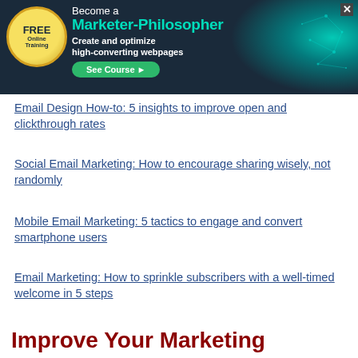[Figure (infographic): Banner ad for FREE Online Training: Become a Marketer-Philosopher. Create and optimize high-converting webpages. See Course button. Dark blue/teal background with gold seal and teal network graphic.]
Email Design How-to: 5 insights to improve open and clickthrough rates
Social Email Marketing: How to encourage sharing wisely, not randomly
Mobile Email Marketing: 5 tactics to engage and convert smartphone users
Email Marketing: How to sprinkle subscribers with a well-timed welcome in 5 steps
Improve Your Marketing